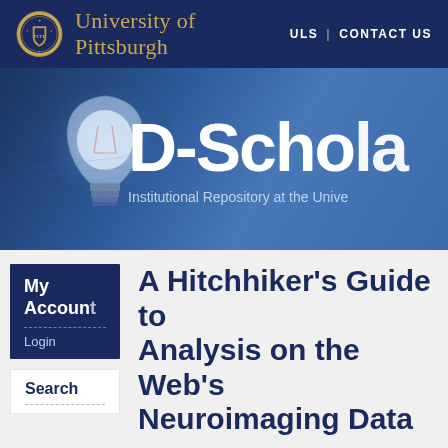University of Pittsburgh | ULS | CONTACT US
[Figure (screenshot): D-Scholarship Institutional Repository at the University of Pittsburgh banner with lightbulb image]
A Hitchhiker's Guide to Analysis on the Web's Neuroimaging Data
Buckser, Rae R. (2022) A Hitchhiker's Guide to OpenNeuro: Analysis on the Web's Neuroimaging Data. Master's Thesis, University of Pittsburgh.
This is the latest version of this item.